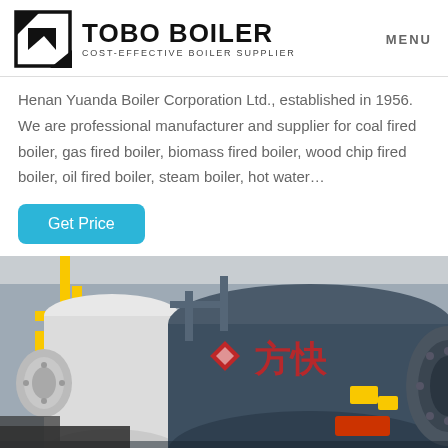TOBO BOILER — COST-EFFECTIVE BOILER SUPPLIER | MENU
Henan Yuanda Boiler Corporation Ltd., established in 1956. We are professional manufacturer and supplier for coal fired boiler, gas fired boiler, biomass fired boiler, wood chip fired boiler, oil fired boiler, steam boiler, hot water…
Get Price
[Figure (photo): Industrial boiler room with large cylindrical gas-fired boilers. A large dark blue/grey boiler tank fills the frame with Chinese characters (方快) on it and a red Sifang logo. Yellow piping on the left and a white cylindrical boiler or tank visible in the foreground.]